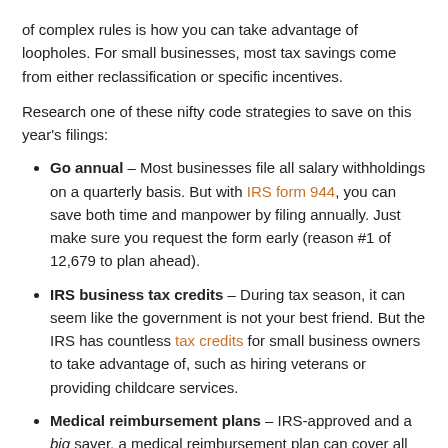of complex rules is how you can take advantage of loopholes. For small businesses, most tax savings come from either reclassification or specific incentives.
Research one of these nifty code strategies to save on this year's filings:
Go annual – Most businesses file all salary withholdings on a quarterly basis. But with IRS form 944, you can save both time and manpower by filing annually. Just make sure you request the form early (reason #1 of 12,679 to plan ahead).
IRS business tax credits – During tax season, it can seem like the government is not your best friend. But the IRS has countless tax credits for small business owners to take advantage of, such as hiring veterans or providing childcare services.
Medical reimbursement plans – IRS-approved and a big saver, a medical reimbursement plan can cover all health expenses for your entire team. Replace your standard group